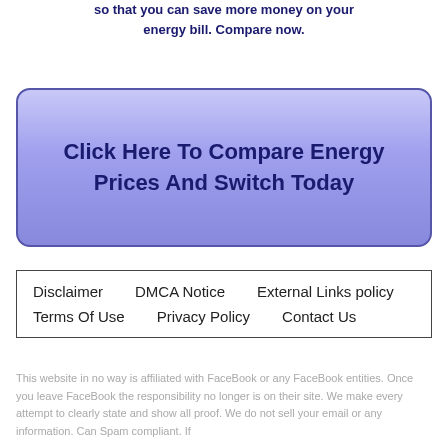so that you can save more money on your energy bill. Compare now.
Click Here To Compare Energy Prices And Switch Today
Disclaimer    DMCA Notice    External Links policy    Terms Of Use    Privacy Policy    Contact Us
This website in no way is affiliated with FaceBook or any FaceBook entities. Once you leave FaceBook the responsibility no longer is on their site. We make every attempt to clearly state and show all proof. We do not sell your email or any information. Can Spam compliant. If